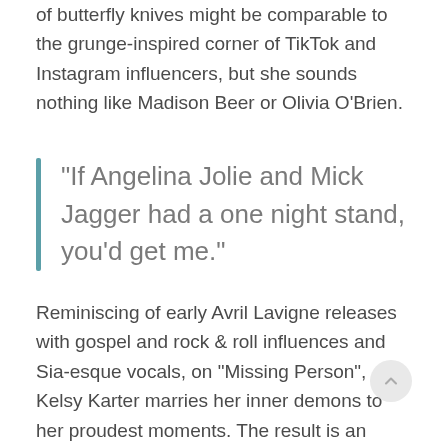of butterfly knives might be comparable to the grunge-inspired corner of TikTok and Instagram influencers, but she sounds nothing like Madison Beer or Olivia O'Brien.
"If Angelina Jolie and Mick Jagger had a one night stand, you'd get me."
Reminiscing of early Avril Lavigne releases with gospel and rock & roll influences and Sia-esque vocals, on "Missing Person", Kelsy Karter marries her inner demons to her proudest moments. The result is an empowering